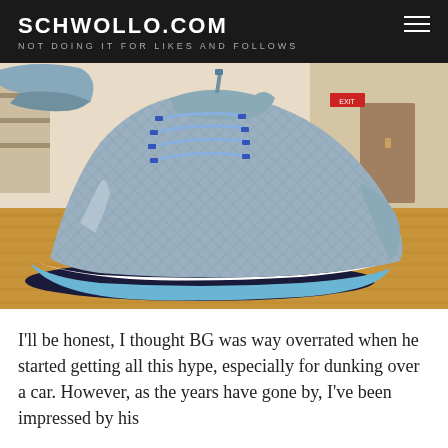SCHWOLLO.COM
NOT DOING IT FOR LIKES AND FOLLOWS
[Figure (photo): Close-up photo of a high-top basketball shoe (grey/blue colorway with blue laces and light blue sole) on a hardwood gymnasium floor. Background shows gymnasium interior with wooden walls and doors.]
I'll be honest, I thought BG was way overrated when he started getting all this hype, especially for dunking over a car. However, as the years have gone by, I've been impressed by his